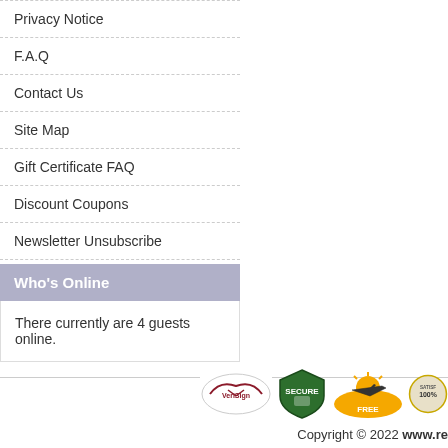Privacy Notice
F.A.Q
Contact Us
Site Map
Gift Certificate FAQ
Discount Coupons
Newsletter Unsubscribe
Who's Online
There currently are 4 guests online.
[Figure (logo): Trust badge logos: VeriSign, Secure, Free Shipping airplane, Satisfaction guarantee badges]
Copyright © 2022 www.re...